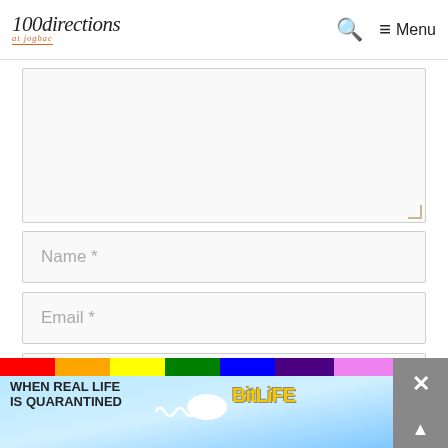100directions at Jogbra — Search — Menu
[Figure (screenshot): Comment text area input box (empty, light gray background)]
[Figure (screenshot): Name * input field (empty placeholder)]
[Figure (screenshot): Email * input field (empty placeholder)]
[Figure (screenshot): Website/We... input field (partially visible, empty placeholder)]
[Figure (screenshot): BitLife advertisement banner: WHEN REAL LIFE IS QUARANTINED — BitLife emoji game ad with rainbow top stripe and close/scroll buttons on right]